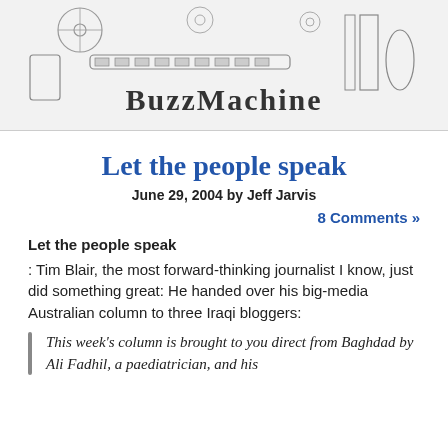[Figure (illustration): BuzzMachine blog header with vintage industrial machinery illustration and 'BuzzMachine' text in decorative font]
Let the people speak
June 29, 2004 by Jeff Jarvis
8 Comments »
Let the people speak
: Tim Blair, the most forward-thinking journalist I know, just did something great: He handed over his big-media Australian column to three Iraqi bloggers:
This week's column is brought to you direct from Baghdad by Ali Fadhil, a paediatrician, and his